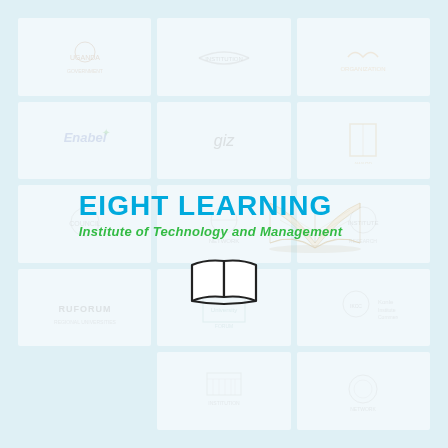[Figure (logo): Background grid of approximately 12-15 faded institutional logos (universities, NGOs, development organizations) arranged in a 3-column grid on a light blue background]
[Figure (logo): Eight Learning Institute of Technology and Management logo — bold blue text 'EIGHT LEARNING' with green subtitle 'Institute of Technology and Management', accompanied by an open book graphic. Centered overlay on the page.]